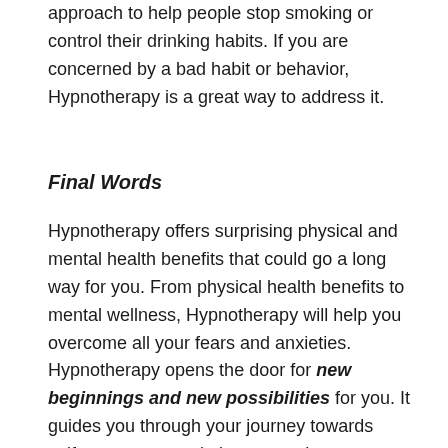approach to help people stop smoking or control their drinking habits. If you are concerned by a bad habit or behavior, Hypnotherapy is a great way to address it.
Final Words
Hypnotherapy offers surprising physical and mental health benefits that could go a long way for you. From physical health benefits to mental wellness, Hypnotherapy will help you overcome all your fears and anxieties. Hypnotherapy opens the door for new beginnings and new possibilities for you. It guides you through your journey towards self-awareness and gives you a better understanding of your thoughts